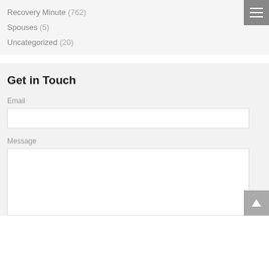Recovery Minute (762)
Spouses (5)
Uncategorized (20)
Get in Touch
Email
Message